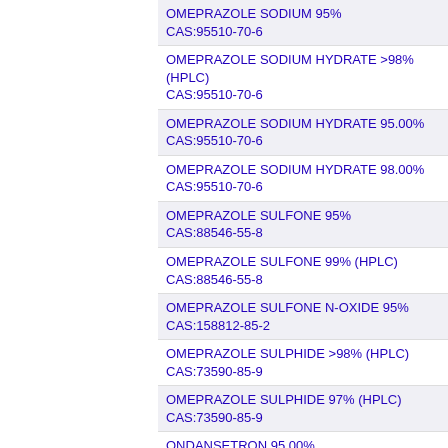OMEPRAZOLE SODIUM 95%
CAS:95510-70-6
OMEPRAZOLE SODIUM HYDRATE >98% (HPLC)
CAS:95510-70-6
OMEPRAZOLE SODIUM HYDRATE 95.00%
CAS:95510-70-6
OMEPRAZOLE SODIUM HYDRATE 98.00%
CAS:95510-70-6
OMEPRAZOLE SULFONE 95%
CAS:88546-55-8
OMEPRAZOLE SULFONE 99% (HPLC)
CAS:88546-55-8
OMEPRAZOLE SULFONE N-OXIDE 95%
CAS:158812-85-2
OMEPRAZOLE SULPHIDE >98% (HPLC)
CAS:73590-85-9
OMEPRAZOLE SULPHIDE 97% (HPLC)
CAS:73590-85-9
ONDANSETRON 95.00%
CAS:99614-02-5
ONDANSETRON 98%
CAS:99614-02-5
ONDANSETRON 98% (HPLC)
CAS:99614-02-5
ONDANSETRON 99% (HPLC), POWDER
CAS:99614-02-5
ONDANSETRON HYDROCHLORIDE 98% (HPLC)
CAS:99614-01-4